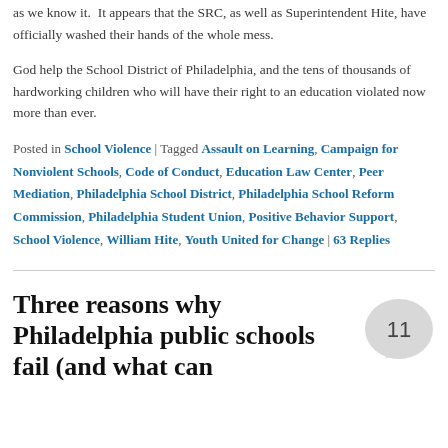as we know it. It appears that the SRC, as well as Superintendent Hite, have officially washed their hands of the whole mess.
God help the School District of Philadelphia, and the tens of thousands of hardworking children who will have their right to an education violated now more than ever.
Posted in School Violence | Tagged Assault on Learning, Campaign for Nonviolent Schools, Code of Conduct, Education Law Center, Peer Mediation, Philadelphia School District, Philadelphia School Reform Commission, Philadelphia Student Union, Positive Behavior Support, School Violence, William Hite, Youth United for Change | 63 Replies
Three reasons why Philadelphia public schools fail (and what can